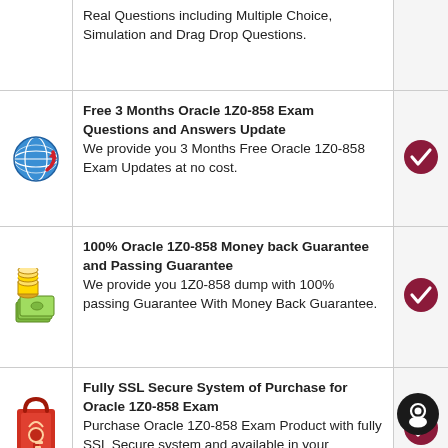Real Questions including Multiple Choice, Simulation and Drag Drop Questions.
Free 3 Months Oracle 1Z0-858 Exam Questions and Answers Update
We provide you 3 Months Free Oracle 1Z0-858 Exam Updates at no cost.
100% Oracle 1Z0-858 Money back Guarantee and Passing Guarantee
We provide you 1Z0-858 dump with 100% passing Guarantee With Money Back Guarantee.
Fully SSL Secure System of Purchase for Oracle 1Z0-858 Exam
Purchase Oracle 1Z0-858 Exam Product with fully SSL Secure system and available in your Dumpsout Account.